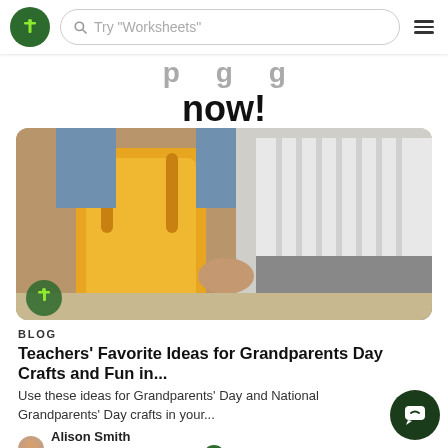Try "Worksheets"
now!
[Figure (photo): Two people holding hands walking, one wearing a yellow backpack and denim jacket, the other wearing a striped shirt and grey pants]
BLOG
Teachers' Favorite Ideas for Grandparents Day Crafts and Fun in...
Use these ideas for Grandparents' Day and National Grandparents' Day crafts in your...
Alison Smith
7 DAYS AGO   4 MIN READ